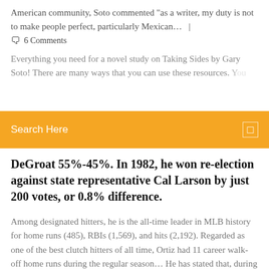American community, Soto commented "as a writer, my duty is not to make people perfect, particularly Mexican…   |
🗨  6 Comments
Everything you need for a novel study on Taking Sides by Gary Soto! There are many ways that you can use these resources. You…
Search Here
DeGroat 55%-45%. In 1982, he won re-election against state representative Cal Larson by just 200 votes, or 0.8% difference.
Among designated hitters, he is the all-time leader in MLB history for home runs (485), RBIs (1,569), and hits (2,192). Regarded as one of the best clutch hitters of all time, Ortiz had 11 career walk-off home runs during the regular season… He has stated that, during his tirades, his father would call him a "loser," which motivated him later as he grew more ambitious to prove himself. This type of water wheel is the oldest type of